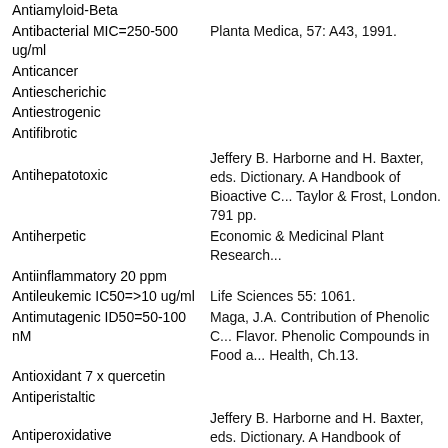Antiamyloid-Beta
Antibacterial MIC=250-500 ug/ml
Planta Medica, 57: A43, 1991.
Anticancer
Antiescherichic
Antiestrogenic
Antifibrotic
Antihepatotoxic
Jeffery B. Harborne and H. Baxter, eds. Dictionary. A Handbook of Bioactive C... Taylor & Frost, London. 791 pp.
Antiherpetic
Economic & Medicinal Plant Research...
Antiinflammatory 20 ppm
Antileukemic IC50=>10 ug/ml
Life Sciences 55: 1061.
Antimutagenic ID50=50-100 nM
Maga, J.A. Contribution of Phenolic C... Flavor. Phenolic Compounds in Food a... Health, Ch.13.
Antioxidant 7 x quercetin
Antiperistaltic
Antiperoxidative
Jeffery B. Harborne and H. Baxter, eds. Dictionary. A Handbook of Bioactive C... Taylor & Frost, London. 791 pp.